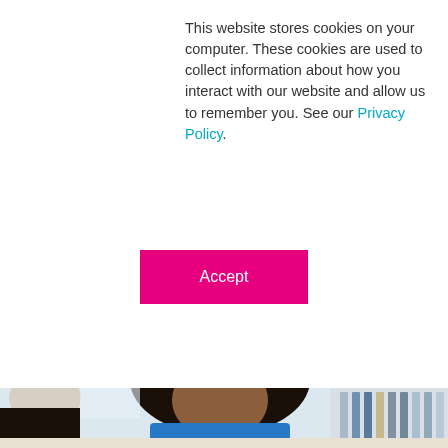This website stores cookies on your computer. These cookies are used to collect information about how you interact with our website and allow us to remember you. See our Privacy Policy.
[Figure (other): Accept button - magenta/pink rectangular button with white text reading 'Accept']
[Figure (photo): Office photo of two women sitting together at a desk. A Black woman in a blue sleeveless top is smiling and writing on paper, while another woman in a black and white patterned top looks on. Office bookshelves visible in the background.]